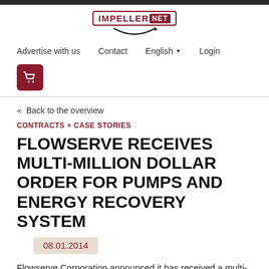[Figure (logo): IMPELLER.NET logo with red border and swoosh graphic]
Advertise with us   Contact   English ▼   Login
[Figure (other): Shopping cart icon button (dark red background)]
« Back to the overview
CONTRACTS + CASE STORIES
FLOWSERVE RECEIVES MULTI-MILLION DOLLAR ORDER FOR PUMPS AND ENERGY RECOVERY SYSTEM
08.01.2014
Flowserve Corporation announced it has received a multi-